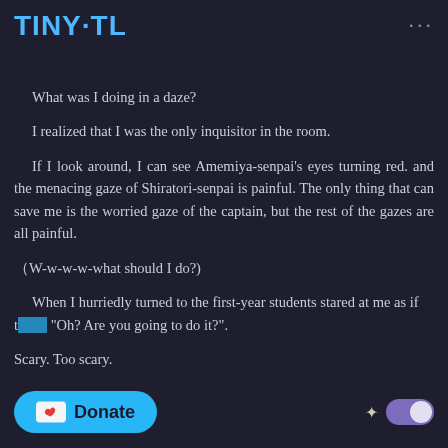TINY·TL
What was I doing in a daze?
I realized that I was the only inquisitor in the room.
If I look around, I can see Amemiya-senpai's eyes turning red. and the menacing gaze of Shiratori-senpai is painful. The only thing that can save me is the worried gaze of the captain, but the rest of the gazes are all painful.
(W-w-w-w-what should I do?)
When I hurriedly turned to the first-year students stared at me as if to... "Oh? Are you going to do it?".
Scary. Too scary.